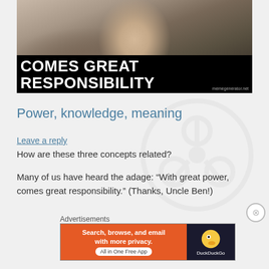[Figure (photo): Meme image showing an older man with white hair looking seriously at the camera, overlaid with bold white text on black bar reading 'COMES GREAT RESPONSIBILITY' and watermark 'memegenerator.net']
Power, knowledge, meaning
Leave a reply
How are these three concepts related?
Many of us have heard the adage: “With great power, comes great responsibility.” (Thanks, Uncle Ben!)
Advertisements
[Figure (screenshot): DuckDuckGo advertisement banner: orange left side reading 'Search, browse, and email with more privacy. All in One Free App', dark right side with DuckDuckGo duck logo and brand name]